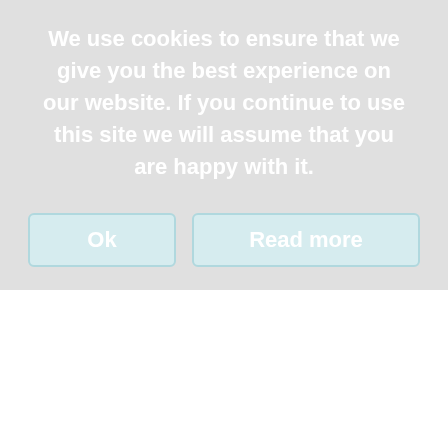We use cookies to ensure that we give you the best experience on our website. If you continue to use this site we will assume that you are happy with it.
Ok
Read more